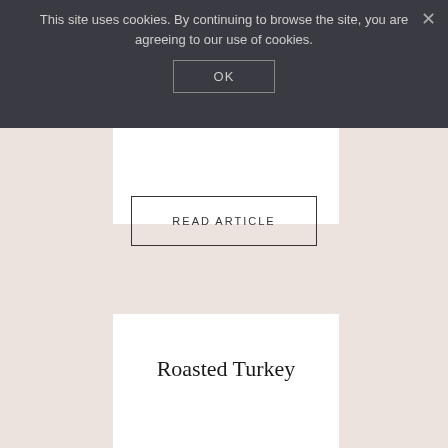This site uses cookies. By continuing to browse the site, you are agreeing to our use of cookies.
OK
READ ARTICLE
Roasted Turkey